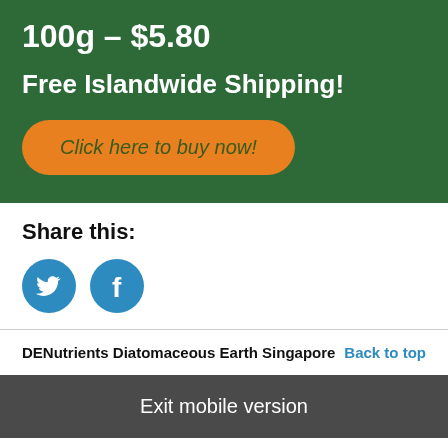100g – $5.80
Free Islandwide Shipping!
Click here to buy now!
Share this:
[Figure (illustration): Twitter and Facebook social share icon buttons (blue circles with white bird and f icons)]
DENutrients Diatomaceous Earth Singapore
Back to top
Exit mobile version